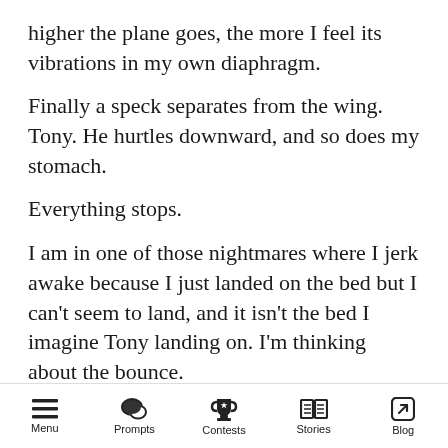higher the plane goes, the more I feel its vibrations in my own diaphragm.
Finally a speck separates from the wing. Tony. He hurtles downward, and so does my stomach.
Everything stops.
I am in one of those nightmares where I jerk awake because I just landed on the bed but I can't seem to land, and it isn't the bed I imagine Tony landing on. I'm thinking about the bounce.
When his chute bursts open, green against the blue sky, I breathe again.
Floating in the sky, he looks beautiful—so beautiful. I want to stop time and keep him
Menu  Prompts  Contests  Stories  Blog